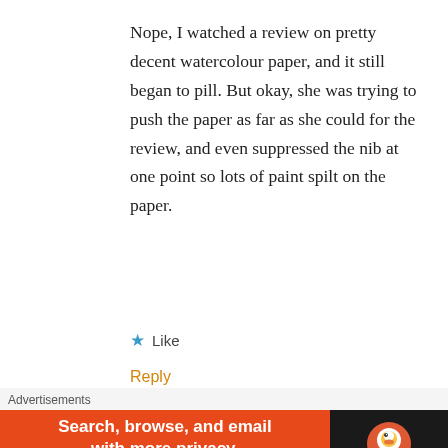Nope, I watched a review on pretty decent watercolour paper, and it still began to pill. But okay, she was trying to push the paper as far as she could for the review, and even suppressed the nib at one point so lots of paint spilt on the paper.
★ Like
Reply
Tallulah van der Made says:
Advertisements
[Figure (screenshot): DuckDuckGo advertisement banner: orange left section with text 'Search, browse, and email with more privacy. All in One Free App' and dark right section with DuckDuckGo duck logo and name.]